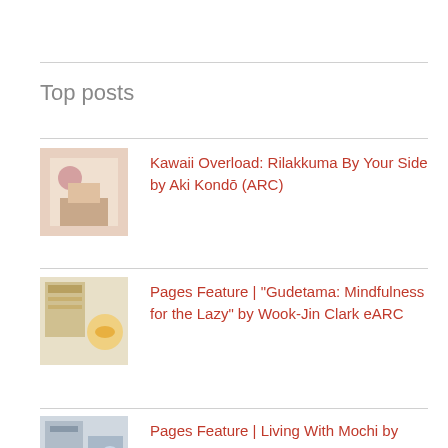Top posts
Kawaii Overload: Rilakkuma By Your Side by Aki Kondō (ARC)
Pages Feature | "Gudetama: Mindfulness for the Lazy" by Wook-Jin Clark eARC
Pages Feature | Living With Mochi by Gemma Gene ARC
Filipino Indie Animation On Fire: Watch Ella Arcangel "Oyayi sa Dilim" Now